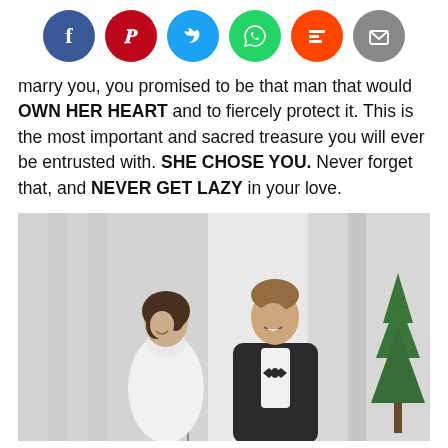[Figure (infographic): Social media sharing icons row: Facebook (blue), Pinterest (red), Twitter (blue), WhatsApp (green), Mix (orange-red), Email (grey)]
marry you, you promised to be that man that would OWN HER HEART and to fiercely protect it. This is the most important and sacred treasure you will ever be entrusted with. SHE CHOSE YOU. Never forget that, and NEVER GET LAZY in your love.
[Figure (photo): A couple smiling at each other outside a white marble building. The woman is wearing a white long-sleeve dress with a turtleneck, and the man is wearing a black tuxedo with a bow tie. There is a green pine tree in the background on the right.]